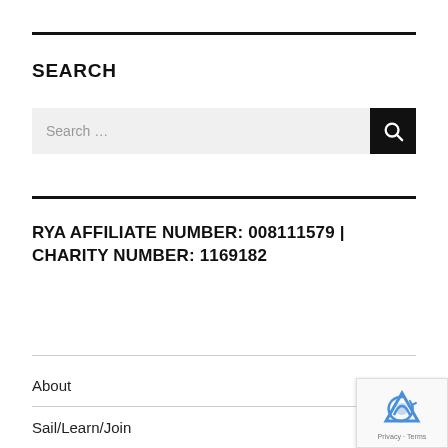SEARCH
[Figure (other): Search input box with search button (magnifying glass icon)]
RYA AFFILIATE NUMBER: 008111579 | CHARITY NUMBER: 1169182
About
Sail/Learn/Join
[Figure (other): reCAPTCHA privacy badge with logo and Privacy · Terms text]